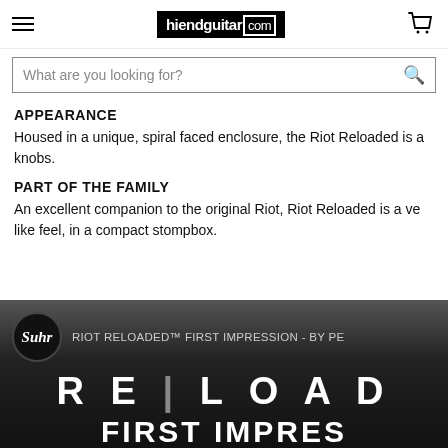hiendguitar.com
What are you looking for?
APPEARANCE
Housed in a unique, spiral faced enclosure, the Riot Reloaded is a... knobs.
PART OF THE FAMILY
An excellent companion to the original Riot, Riot Reloaded is a ve... like feel, in a compact stompbox.
[Figure (screenshot): Video thumbnail for 'RIOT RELOADED First Impression' by PE... featuring Suhr logo circle and large text 'RE|LOAD' and 'FIRST IMPRES' on dark gradient background]